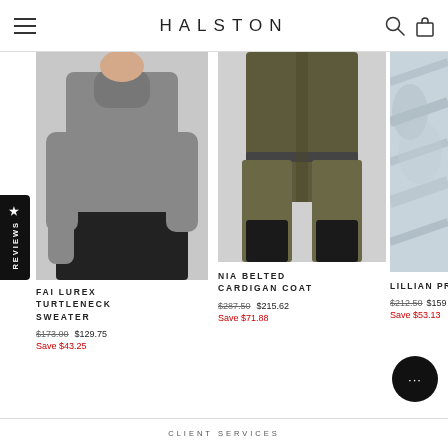HALSTON
[Figure (photo): Model wearing dark gray turtleneck sweater with long sleeves and black wide-leg skirt]
FAI LUREX TURTLENECK SWEATER
$173.00  $129.75  Save $43.25
[Figure (photo): Model wearing olive/khaki wide-leg trousers and matching long coat with black boots]
NIA BELTED CARDIGAN COAT
$287.50  $215.62  Save $71.88
[Figure (photo): Partial view of model wearing light blue/white printed dress or jacket]
LILLIAN PRI
$212.50  $159  Save $53.13
CLIENT SERVICES